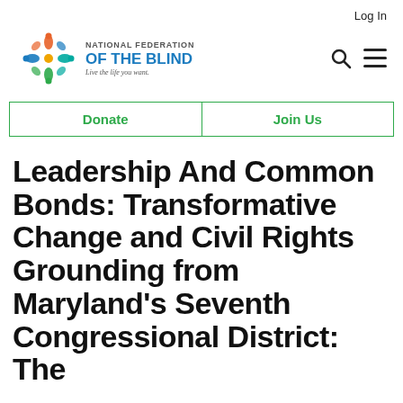Log In
[Figure (logo): National Federation of the Blind logo with colorful flower/people icon, text 'NATIONAL FEDERATION OF THE BLIND' in blue, tagline 'Live the life you want.']
Donate   Join Us
Leadership And Common Bonds: Transformative Change and Civil Rights Grounding from Maryland's Seventh Congressional District: The